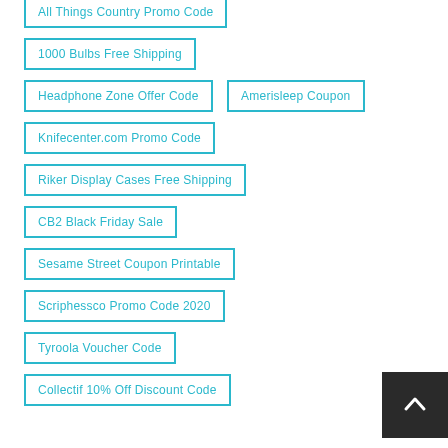All Things Country Promo Code
1000 Bulbs Free Shipping
Headphone Zone Offer Code
Amerisleep Coupon
Knifecenter.com Promo Code
Riker Display Cases Free Shipping
CB2 Black Friday Sale
Sesame Street Coupon Printable
Scriphessco Promo Code 2020
Tyroola Voucher Code
Collectif 10% Off Discount Code